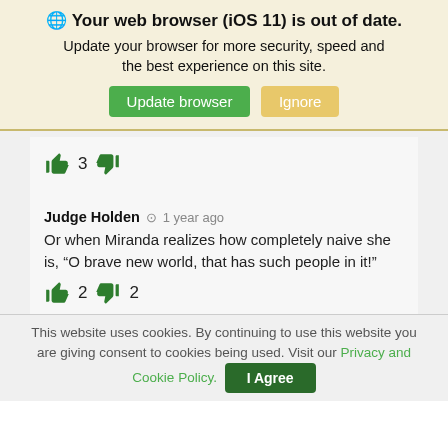🌐 Your web browser (iOS 11) is out of date. Update your browser for more security, speed and the best experience on this site.
Update browser | Ignore
👍 3 👎
Judge Holden ⏱ 1 year ago
Or when Miranda realizes how completely naive she is, “O brave new world, that has such people in it!”
👍 2 👎 2
This website uses cookies. By continuing to use this website you are giving consent to cookies being used. Visit our Privacy and Cookie Policy.
I Agree